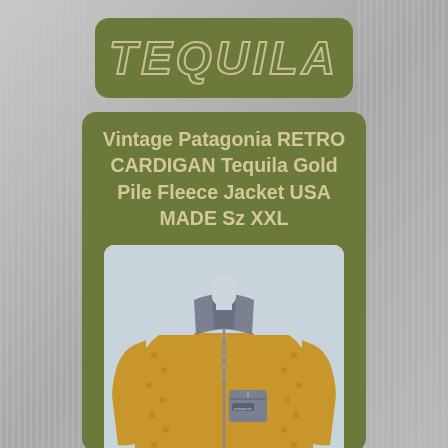TEQUILA
Vintage Patagonia RETRO CARDIGAN Tequila Gold Pile Fleece Jacket USA MADE Sz XXL
[Figure (photo): A vintage Patagonia Retro Cardigan fleece jacket in tequila gold/mustard yellow color with gray collar and chest pocket, displayed on a mannequin against a light blue-gray background.]